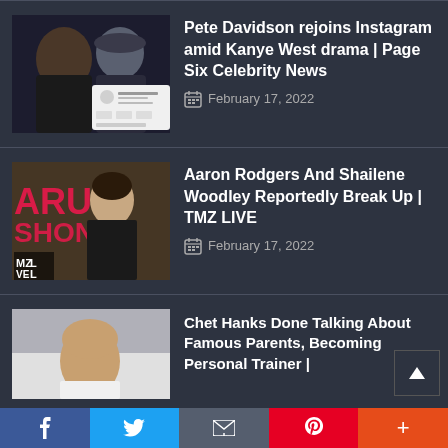[Figure (photo): Thumbnail showing Kanye West and Pete Davidson, with an Instagram profile screenshot overlay]
Pete Davidson rejoins Instagram amid Kanye West drama | Page Six Celebrity News
February 17, 2022
[Figure (photo): Thumbnail showing Shailene Woodley at a fashion event with TMZ LIVE branding]
Aaron Rodgers And Shailene Woodley Reportedly Break Up | TMZ LIVE
February 17, 2022
[Figure (photo): Thumbnail showing Chet Hanks speaking to camera]
Chet Hanks Done Talking About Famous Parents, Becoming Personal Trainer |